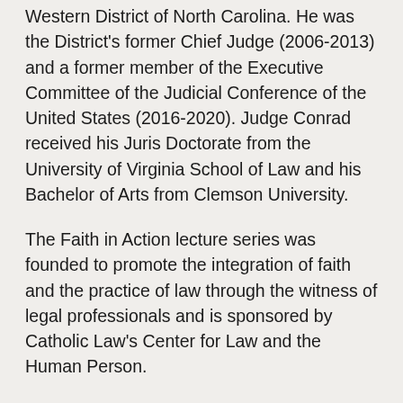Western District of North Carolina. He was the District's former Chief Judge (2006-2013) and a former member of the Executive Committee of the Judicial Conference of the United States (2016-2020). Judge Conrad received his Juris Doctorate from the University of Virginia School of Law and his Bachelor of Arts from Clemson University.
The Faith in Action lecture series was founded to promote the integration of faith and the practice of law through the witness of legal professionals and is sponsored by Catholic Law's Center for Law and the Human Person.